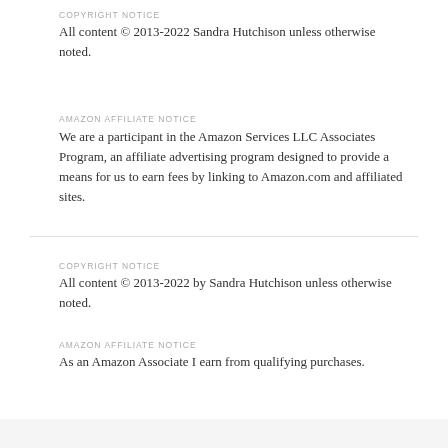COPYRIGHT NOTICE
All content © 2013-2022 Sandra Hutchison unless otherwise noted.
AMAZON AFFILIATE NOTICE
We are a participant in the Amazon Services LLC Associates Program, an affiliate advertising program designed to provide a means for us to earn fees by linking to Amazon.com and affiliated sites.
COPYRIGHT NOTICE
All content © 2013-2022 by Sandra Hutchison unless otherwise noted.
AMAZON AFFILIATE NOTICE
As an Amazon Associate I earn from qualifying purchases.